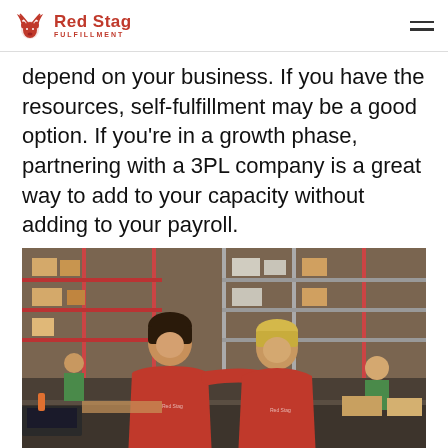Red Stag Fulfillment
depend on your business. If you have the resources, self-fulfillment may be a good option. If you’re in a growth phase, partnering with a 3PL company is a great way to add to your capacity without adding to your payroll.
[Figure (photo): Two smiling Red Stag Fulfillment employees in red shirts posing in a warehouse full of shelving, boxes, and other workers in green shirts in the background.]